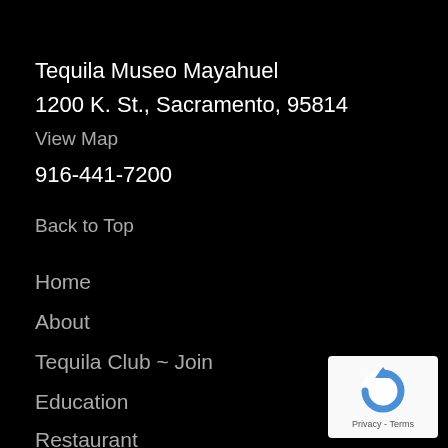Tequila Museo Mayahuel
1200 K. St., Sacramento, 95814
View Map
916-441-7200
Back to Top
Home
About
Tequila Club ~ Join
Education
Restaurant
[Figure (logo): Google reCAPTCHA badge with arrow icon and Privacy - Terms text]